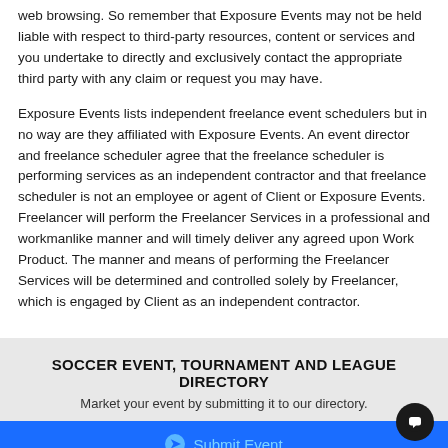web browsing. So remember that Exposure Events may not be held liable with respect to third-party resources, content or services and you undertake to directly and exclusively contact the appropriate third party with any claim or request you may have.
Exposure Events lists independent freelance event schedulers but in no way are they affiliated with Exposure Events. An event director and freelance scheduler agree that the freelance scheduler is performing services as an independent contractor and that freelance scheduler is not an employee or agent of Client or Exposure Events. Freelancer will perform the Freelancer Services in a professional and workmanlike manner and will timely deliver any agreed upon Work Product. The manner and means of performing the Freelancer Services will be determined and controlled solely by Freelancer, which is engaged by Client as an independent contractor.
SOCCER EVENT, TOURNAMENT AND LEAGUE DIRECTORY
Market your event by submitting it to our directory.
Submit Event